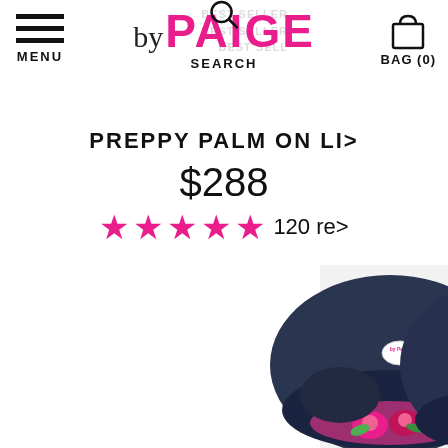MENU | by PAIGE | SEARCH | BAG (0)
PREPPY PALM ON LI...
$288
★★★★★ 120 re...
[Figure (photo): Two navy and white striped slip-on loafers with pink floral (rose) needlepoint embroidery, shown from top angle with 'by Paige' insole branding visible.]